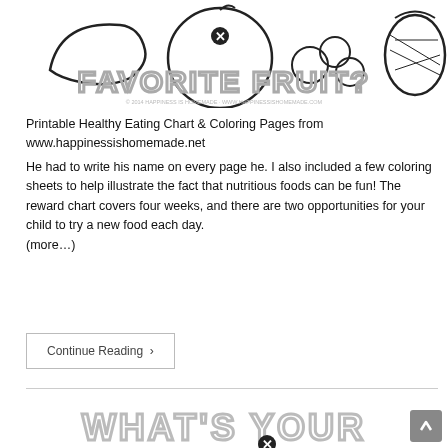[Figure (illustration): Coloring page illustration showing fruit items (banana, apple, blueberries, pineapple) with bold outlined text reading FAVORITE FRUIT? and a small copyright line below]
Printable Healthy Eating Chart & Coloring Pages from www.happinessishomemade.net
He had to write his name on every page he. I also included a few coloring sheets to help illustrate the fact that nutritious foods can be fun! The reward chart covers four weeks, and there are two opportunities for your child to try a new food each day. (more…)
Continue Reading ›
[Figure (illustration): Bottom coloring page illustration showing outlined decorative text reading WHAT'S YOUR with a close button (X) icon]